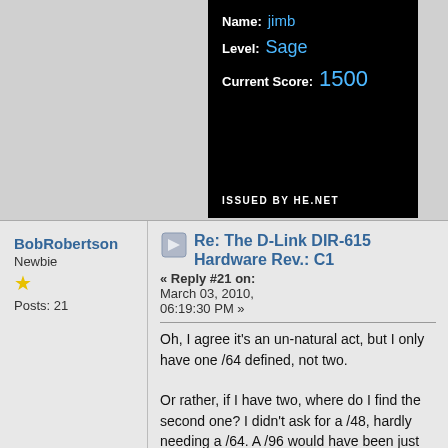[Figure (screenshot): Dark certificate/badge card showing Name: jimb, Level: Sage, Current Score: 1500, issued by HE.NET]
BobRobertson
Newbie
★
Posts: 21
Re: The D-Link DIR-615 Hardware Rev.: C1
« Reply #21 on: March 03, 2010, 06:19:30 PM »
Oh, I agree it's an un-natural act, but I only have one /64 defined, not two.
Or rather, if I have two, where do I find the second one? I didn't ask for a /48, hardly needing a /64. A /96 would have been just fine. Being profligate with addresses from the start seems to be a violation of what we learned